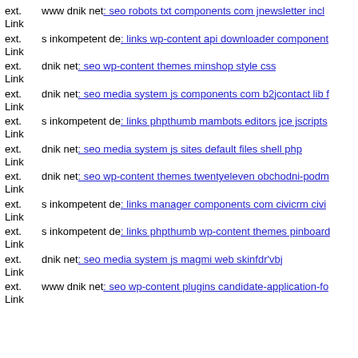ext. Link www dnik net: seo robots txt components com jnewsletter incl...
ext. Link s inkompetent de: links wp-content api downloader component...
ext. Link dnik net: seo wp-content themes minshop style css
ext. Link dnik net: seo media system js components com b2jcontact lib f...
ext. Link s inkompetent de: links phpthumb mambots editors jce jscripts...
ext. Link dnik net: seo media system js sites default files shell php
ext. Link dnik net: seo wp-content themes twentyeleven obchodni-podm...
ext. Link s inkompetent de: links manager components com civicrm civi...
ext. Link s inkompetent de: links phpthumb wp-content themes pinboard...
ext. Link dnik net: seo media system js magmi web skinfdr'vbj
ext. Link www dnik net: seo wp-content plugins candidate-application-fo...